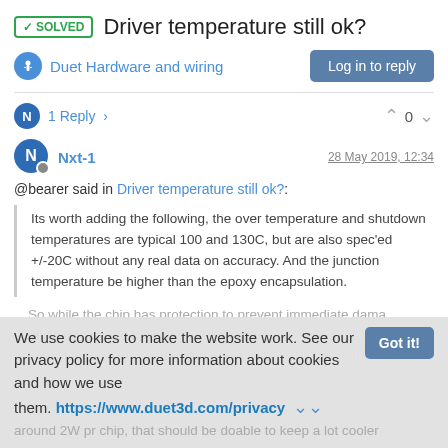✓SOLVED  Driver temperature still ok?
Duet Hardware and wiring   Log in to reply
1 Reply >    ^ 0 v
Nxt-1   28 May 2019, 12:34
@bearer said in Driver temperature still ok?:
Its worth adding the following, the over temperature and shutdown temperatures are typical 100 and 130C, but are also spec'ed +/-20C without any real data on accuracy. And the junction temperature be higher than the epoxy encapsulation.
So while the chip has protection to prevent immediate dama... and catastrophic failure I would most certainly consider addi... heatsinks to the bottom of the board, where the thermal vias are...
around 2W pr chip, that should be doable to keep a lot cooler
We use cookies to make the website work. See our privacy policy for more information about cookies and how we use them. https://www.duet3d.com/privacy